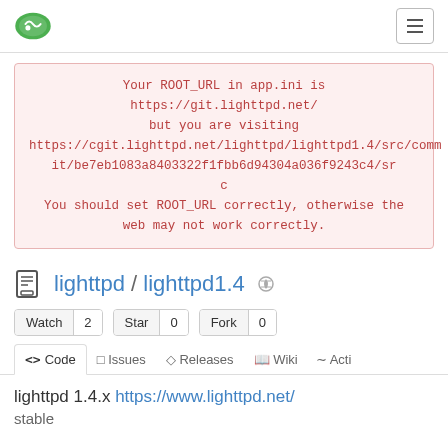Gitea navigation bar with logo and menu button
Your ROOT_URL in app.ini is https://git.lighttpd.net/ but you are visiting https://cgit.lighttpd.net/lighttpd/lighttpd1.4/src/commit/be7eb1083a8403322f1fbb6d94304a036f9243c4/src You should set ROOT_URL correctly, otherwise the web may not work correctly.
lighttpd / lighttpd1.4
Watch 2  Star 0  Fork 0
<> Code  Issues  Releases  Wiki  Activity
lighttpd 1.4.x https://www.lighttpd.net/
stable